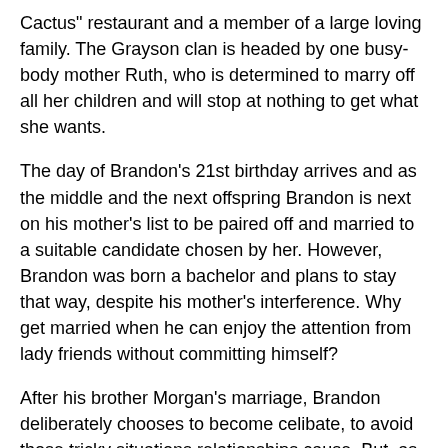Cactus" restaurant and a member of a large loving family. The Grayson clan is headed by one busy-body mother Ruth, who is determined to marry off all her children and will stop at nothing to get what she wants.
The day of Brandon's 21st birthday arrives and as the middle and the next offspring Brandon is next on his mother's list to be paired off and married to a suitable candidate chosen by her. However, Brandon was born a bachelor and plans to stay that way, despite his mother's interference. Why get married when he can enjoy the attention from lady friends without committing himself?
After his brother Morgan's marriage, Brandon deliberately chooses to become celibate, to avoid those tricky situations relationships cause. But, as in all good romances, the burden of such a decision is hard to deal with - and his interest is sparked by the most unlikely candidate, Faith, his dependable best friend. He tries to fight it of course, but little does he know whilst he is battling with his confused emotions his long-term friend, Faith is after more than their current safe alliance. To complicate things further, she's had